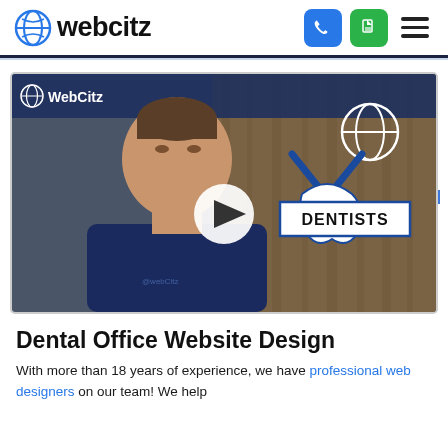webcitz
[Figure (screenshot): Video thumbnail showing a man in a WebCitz hoodie in front of a wooden background with a play button overlay and a DENTISTS logo graphic on the right side]
Dental Office Website Design
With more than 18 years of experience, we have professional web designers on our team! We help